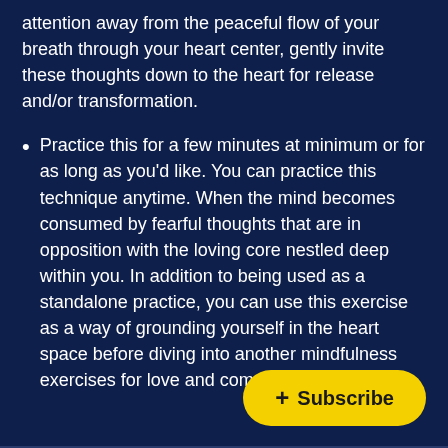attention away from the peaceful flow of your breath through your heart center, gently invite these thoughts down to the heart for release and/or transformation.
Practice this for a few minutes at minimum or for as long as you'd like. You can practice this technique anytime. When the mind becomes consumed by fearful thoughts that are in opposition with the loving core nestled deep within you. In addition to being used as a standalone practice, you can use this exercise as a way of grounding yourself in the heart space before diving into another mindfulness exercises for love and compas...